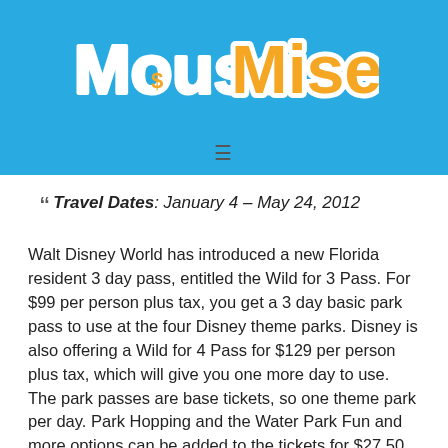[Figure (logo): MouseMisers logo with stylized text — 'Mouse' in white bubble letters with blue outline, 'Misers' in yellow bubble letters with white outline, on a blue header background]
" Travel Dates: January 4 – May 24, 2012
Walt Disney World has introduced a new Florida resident 3 day pass, entitled the Wild for 3 Pass. For $99 per person plus tax, you get a 3 day basic park pass to use at the four Disney theme parks. Disney is also offering a Wild for 4 Pass for $129 per person plus tax, which will give you one more day to use. The park passes are base tickets, so one theme park per day. Park Hopping and the Water Park Fun and more options can be added to the tickets for $27.50 per person per add-on (the hopping would be $27.50, the water park also $27.50).